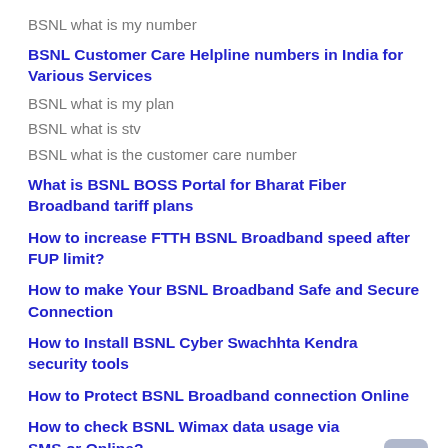BSNL what is my number
BSNL Customer Care Helpline numbers in India for Various Services
BSNL what is my plan
BSNL what is stv
BSNL what is the customer care number
What is BSNL BOSS Portal for Bharat Fiber Broadband tariff plans
How to increase FTTH BSNL Broadband speed after FUP limit?
How to make Your BSNL Broadband Safe and Secure Connection
How to Install BSNL Cyber Swachhta Kendra security tools
How to Protect BSNL Broadband connection Online
How to check BSNL Wimax data usage via SMS or Online?
How bsnl balance check